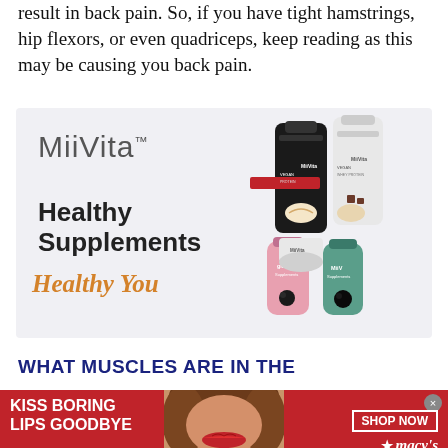result in back pain. So, if you have tight hamstrings, hip flexors, or even quadriceps, keep reading as this may be causing you back pain.
[Figure (infographic): MiiVita brand advertisement showing health supplement products. Logo reads 'MiiVita™'. Text reads 'Healthy Supplements' in bold black and 'Healthy You' in italic orange. Right side shows multiple supplement bottles and containers.]
WHAT MUSCLES ARE IN THE
[Figure (infographic): Macy's advertisement banner. Red background. Left text: 'KISS BORING LIPS GOODBYE'. Center shows a woman's face with red lipstick. Right shows 'SHOP NOW' button and 'macy's' logo with star. Top right has close (x) button.]